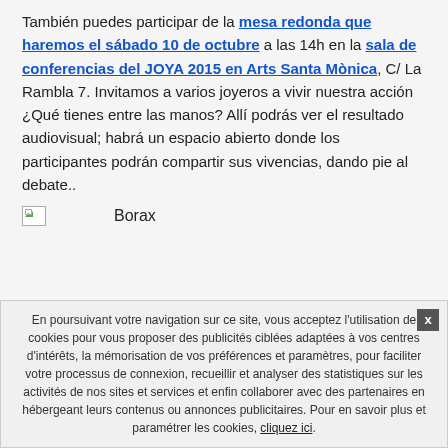También puedes participar de la mesa redonda que haremos el sábado 10 de octubre a las 14h en la sala de conferencias del JOYA 2015 en Arts Santa Mònica, C/ La Rambla 7. Invitamos a varios joyeros a vivir nuestra acción ¿Qué tienes entre las manos? Allí podrás ver el resultado audiovisual; habrá un espacio abierto donde los participantes podrán compartir sus vivencias, dando pie al debate..
[Figure (photo): Broken image icon followed by the text label 'Borax']
En poursuivant votre navigation sur ce site, vous acceptez l'utilisation de cookies pour vous proposer des publicités ciblées adaptées à vos centres d'intérêts, la mémorisation de vos préférences et paramètres, pour faciliter votre processus de connexion, recueillir et analyser des statistiques sur les activités de nos sites et services et enfin collaborer avec des partenaires en hébergeant leurs contenus ou annonces publicitaires. Pour en savoir plus et paramétrer les cookies, cliquez ici.